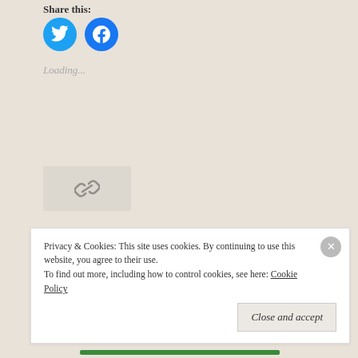Share this:
[Figure (illustration): Twitter and Facebook circular social share buttons in blue]
Loading...
[Figure (illustration): Chain link icon in a light beige box]
Posted in inspiration, photography, Sharing, travel, Ukraine
Tagged beauty, blogging, fashion, Germany, inspiration, Kazakhstan, nice2beme, photography, thescarfstory, travel,
Privacy & Cookies: This site uses cookies. By continuing to use this website, you agree to their use.
To find out more, including how to control cookies, see here: Cookie Policy
Close and accept